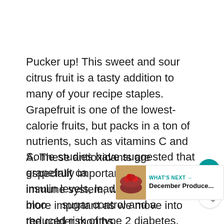Pucker up! This sweet and sour citrus fruit is a tasty addition to many of your recipe staples. Grapefruit is one of the lowest-calorie fruits, but packs in a ton of nutrients, such as vitamins C and A. These antioxidants are especially important for aiding your immune system, which is even more important as we move into the colder months.
Some studies have suggested that grapefruit can help control insulin levels, leading to better blood sugar control and a reduced risk of type 2 diabetes. However, those on certain medications should be aware that a compound in grapefruit can cause negative interactions. For those who